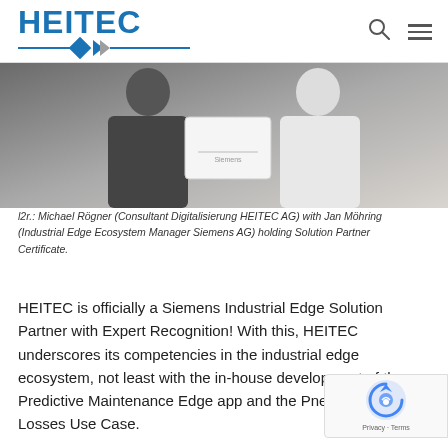HEITEC
[Figure (photo): Two people holding a Siemens Solution Partner Certificate between them. One person is wearing a dark jacket on the left, and the other is wearing a white dress shirt on the right.]
l2r.: Michael Rögner (Consultant Digitalisierung HEITEC AG) with Jan Möhring (Industrial Edge Ecosystem Manager Siemens AG) holding Solution Partner Certificate.
HEITEC is officially a Siemens Industrial Edge Solution Partner with Expert Recognition! With this, HEITEC underscores its competencies in the industrial edge ecosystem, not least with the in-house development of the Predictive Maintenance Edge app and the Pneumatic Losses Use Case.